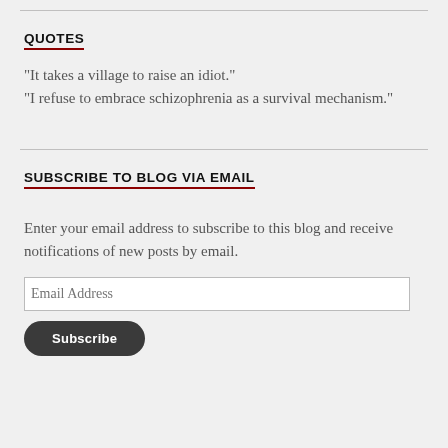QUOTES
"It takes a village to raise an idiot."
"I refuse to embrace schizophrenia as a survival mechanism."
SUBSCRIBE TO BLOG VIA EMAIL
Enter your email address to subscribe to this blog and receive notifications of new posts by email.